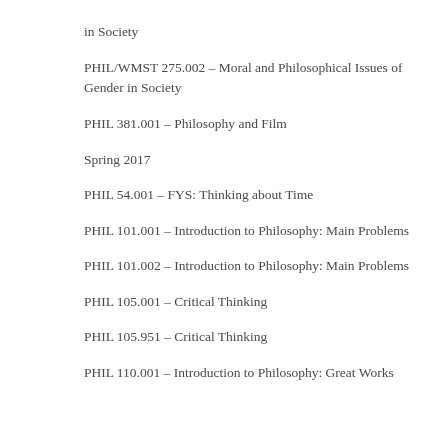in Society
PHIL/WMST 275.002 – Moral and Philosophical Issues of Gender in Society
PHIL 381.001 – Philosophy and Film
Spring 2017
PHIL 54.001 – FYS: Thinking about Time
PHIL 101.001 – Introduction to Philosophy: Main Problems
PHIL 101.002 – Introduction to Philosophy: Main Problems
PHIL 105.001 – Critical Thinking
PHIL 105.951 – Critical Thinking
PHIL 110.001 – Introduction to Philosophy: Great Works